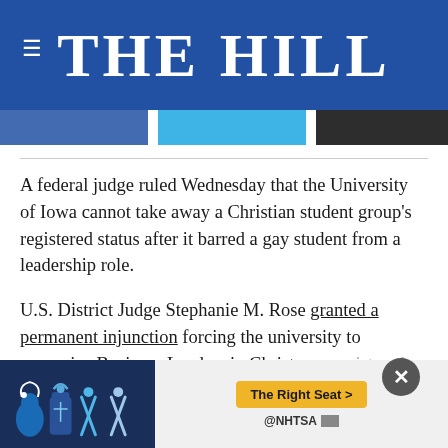THE HILL
A federal judge ruled Wednesday that the University of Iowa cannot take away a Christian student group's registered status after it barred a gay student from a leadership role.
U.S. District Judge Stephanie M. Rose granted a permanent injunction forcing the university to recognize Business Leaders in Christ as a registered student organization.
The university had claimed that the group
[Figure (screenshot): Advertisement banner for NHTSA 'The Right Seat' campaign showing car seat icons on dark blue background with yellow CTA button]